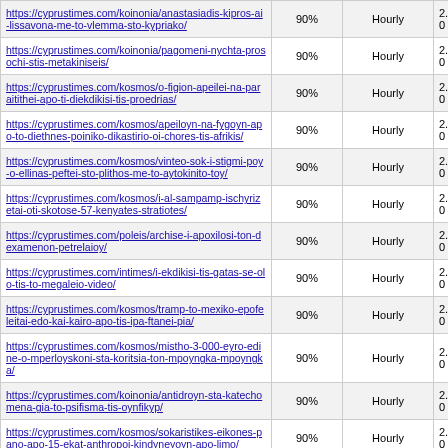| URL | Priority | Change Freq | Date |
| --- | --- | --- | --- |
| https://cyprustimes.com/koinonia/anastasiadis-kipros-ai-lissavona-me-to-vlemma-sto-kypriako/ | 90% | Hourly | 2...0 |
| https://cyprustimes.com/koinonia/pagomeni-nychta-prosochi-stis-metakiniseis/ | 90% | Hourly | 2...0 |
| https://cyprustimes.com/kosmos/o-figion-apeilei-na-paraitithei-apo-ti-diekdikisi-tis-proedrias/ | 90% | Hourly | 2...0 |
| https://cyprustimes.com/kosmos/apeiloyn-na-fygoyn-apo-to-diethnes-poiniko-dikastirio-oi-chores-tis-afrikis/ | 90% | Hourly | 2...0 |
| https://cyprustimes.com/kosmos/vinteo-sok-i-stigmi-poy-o-ellinas-peftei-sto-plithos-me-to-aytokinito-toy/ | 90% | Hourly | 2...0 |
| https://cyprustimes.com/kosmos/i-al-sampamp-ischyrizetai-oti-skotose-57-kenyates-stratiotes/ | 90% | Hourly | 2...0 |
| https://cyprustimes.com/poleis/archise-i-apoxilosi-ton-dexamenon-petrelaioy/ | 90% | Hourly | 2...0 |
| https://cyprustimes.com/intimes/i-ekdikisi-tis-gatas-se-olo-tis-to-megaleio-video/ | 90% | Hourly | 2...0 |
| https://cyprustimes.com/kosmos/tramp-to-mexiko-epofeleitai-edo-kai-kairo-apo-tis-ipa-ftanei-pia/ | 90% | Hourly | 2...0 |
| https://cyprustimes.com/kosmos/mistho-3-000-eyro-edine-o-mperloyskoni-sta-koritsia-ton-mpoyngka-mpoyngka/ | 90% | Hourly | 2...0 |
| https://cyprustimes.com/koinonia/antidroyn-sta-katechomena-gia-to-psifisma-tis-oynfikyp/ | 90% | Hourly | 2...0 |
| https://cyprustimes.com/kosmos/sokaristikes-eikones-pano-apo-15-ekat-anthropoi-kindyneyoyn-apo-limo/ | 90% | Hourly | 2...0 |
| https://cyprustimes.com/intimes/gkafa-apo-to-epiteleio-toy-tramp-mperdepsan-tin-prothypoyrgo-me-tin- | 90% | Hourly | 2...0 |